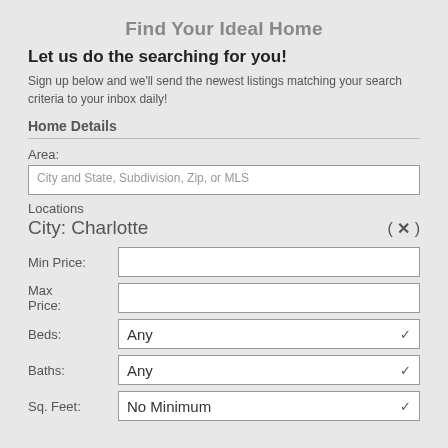Find Your Ideal Home
Let us do the searching for you!
Sign up below and we'll send the newest listings matching your search criteria to your inbox daily!
Home Details
Area:
City and State, Subdivision, Zip, or MLS
Locations
City: Charlotte ( ✕ )
Min Price:
Max Price:
Beds: Any
Baths: Any
Sq. Feet: No Minimum